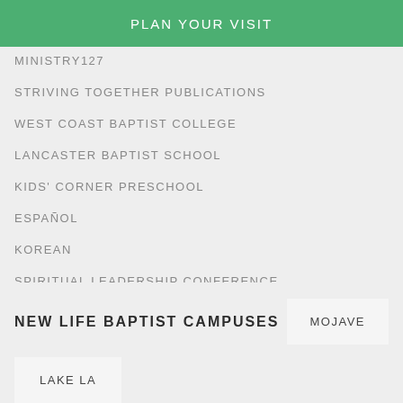PLAN YOUR VISIT
MINISTRY127
STRIVING TOGETHER PUBLICATIONS
WEST COAST BAPTIST COLLEGE
LANCASTER BAPTIST SCHOOL
KIDS' CORNER PRESCHOOL
ESPAÑOL
KOREAN
SPIRITUAL LEADERSHIP CONFERENCE
SPIRITUAL LEADERSHIP CONFERENCE ASIA
LADIES CONFERENCE
NEW LIFE BAPTIST CAMPUSES
MOJAVE
LAKE LA